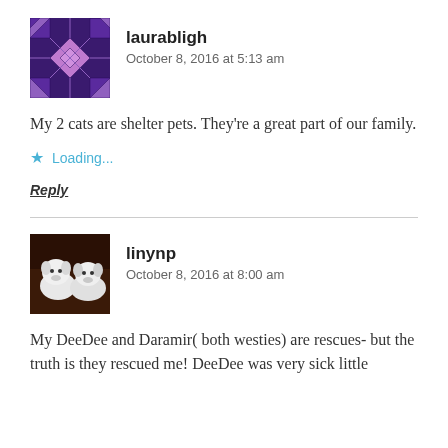[Figure (illustration): Purple decorative avatar with geometric quilt pattern for user laurabligh]
laurabligh
October 8, 2016 at 5:13 am
My 2 cats are shelter pets. They're a great part of our family.
Loading...
Reply
[Figure (photo): Photo of two white Westie dogs for user linynp]
linynp
October 8, 2016 at 8:00 am
My DeeDee and Daramir( both westies) are rescues- but the truth is they rescued me! DeeDee was very sick little